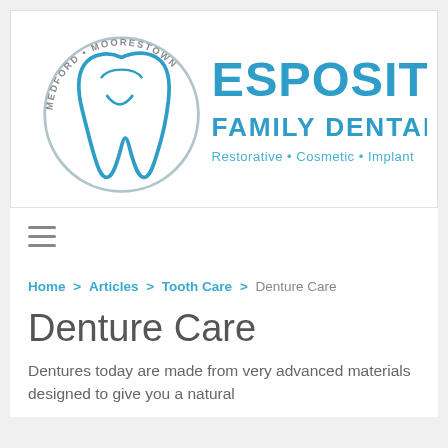[Figure (logo): Esposito Family Dental logo with tooth icon and circular text reading MEDFORD • MOORESTOWN, and tagline Restorative • Cosmetic • Implant]
≡ (hamburger menu icon)
Home > Articles > Tooth Care > Denture Care
Denture Care
Dentures today are made from very advanced materials designed to give you a natural